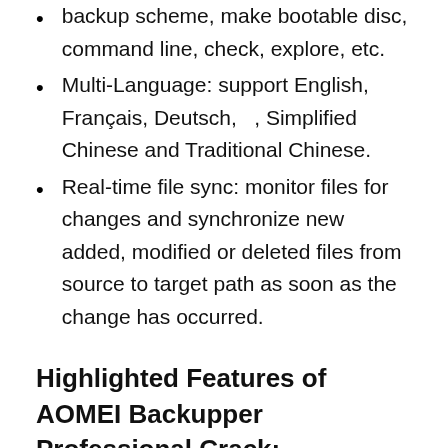backup scheme, make bootable disc, command line, check, explore, etc.
Multi-Language: support English, Français, Deutsch, 　, Simplified Chinese and Traditional Chinese.
Real-time file sync: monitor files for changes and synchronize new added, modified or deleted files from source to target path as soon as the change has occurred.
Highlighted Features of AOMEI Backupper Professional Crack:
Advanced and powerful compression algorithm
Backup one or multiple partitions/volumes
Clone disk partition or full disk drive